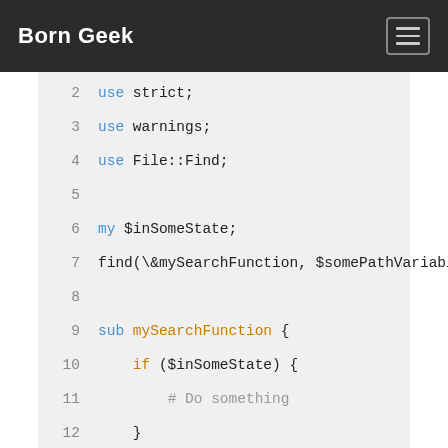Born Geek
[Figure (screenshot): Code snippet showing Perl code lines 2-13 with syntax highlighting on a light gray background]
The find() call will execute the mySearchFunction subroutine, operating in the $somePathVariable folder. I cannot pass any parameters to the